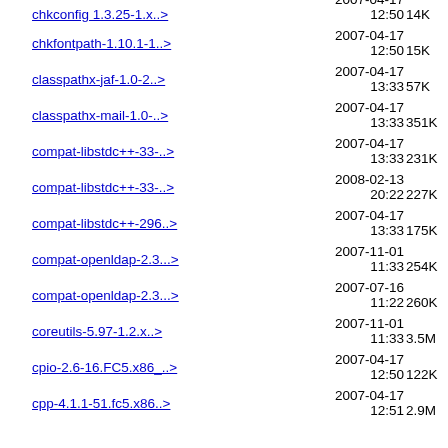chkconfig 1.3.25-1.x..> 2007-04-17 12:50 14K (partial, top cut off)
chkfontpath-1.10.1-1..> 2007-04-17 12:50 15K
classpathx-jaf-1.0-2..> 2007-04-17 13:33 57K
classpathx-mail-1.0-..> 2007-04-17 13:33 351K
compat-libstdc++-33-..> 2007-04-17 13:33 231K
compat-libstdc++-33-..> 2008-02-13 20:22 227K
compat-libstdc++-296..> 2007-04-17 13:33 175K
compat-openldap-2.3...> 2007-11-01 11:33 254K
compat-openldap-2.3...> 2007-07-16 11:22 260K
coreutils-5.97-1.2.x..> 2007-11-01 11:33 3.5M
cpio-2.6-16.FC5.x86_..> 2007-04-17 12:50 122K
cpp-4.1.1-51.fc5.x86..> 2007-04-17 12:51 2.9M (partial, bottom cut off)